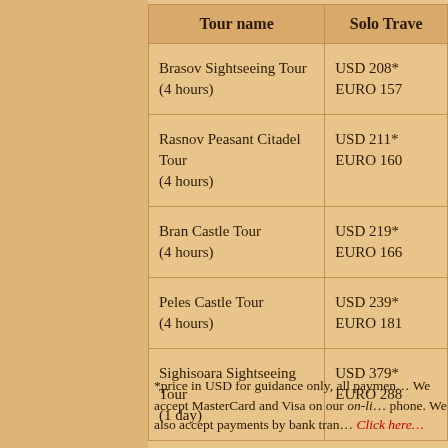| Tour name | Solo Trave… |
| --- | --- |
| Brasov Sightseeing Tour
(4 hours) | USD 208*
EURO 157 |
| Rasnov Peasant Citadel Tour
(4 hours) | USD 211*
EURO 160 |
| Bran Castle Tour
(4 hours) | USD 219*
EURO 166 |
| Peles Castle Tour
(4 hours) | USD 239*
EURO 181 |
| Sighisoara Sightseeing Tour
(1 day) | USD 379*
EURO 288 |
*price in USD for guidance only, all paymen… We accept MasterCard and Visa on our on-lin… phone. We also accept payments by bank tran… Click here… Reservation of…